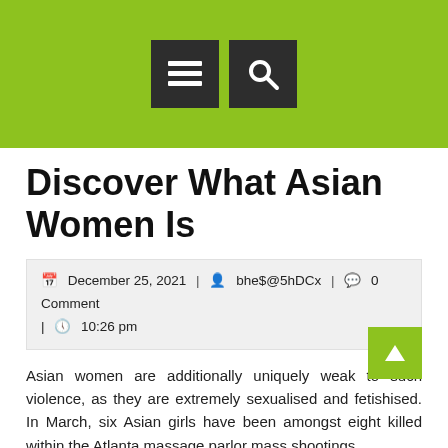[Figure (screenshot): Green header bar with two dark square icon buttons: a hamburger menu icon and a search/magnifier icon]
Discover What Asian Women Is
December 25, 2021 | bhe$@5hDCx | 0 Comment | 10:26 pm
Asian women are additionally uniquely weak to such violence, as they are extremely sexualised and fetishised. In March, six Asian girls have been amongst eight killed within the Atlanta massage parlor mass shootings.
Just a quantity of days later a 91-year-old Asian man was